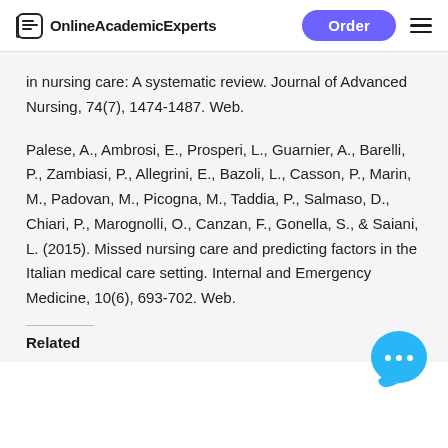OnlineAcademicExperts | Order
in nursing care: A systematic review. Journal of Advanced Nursing, 74(7), 1474-1487. Web.
Palese, A., Ambrosi, E., Prosperi, L., Guarnier, A., Barelli, P., Zambiasi, P., Allegrini, E., Bazoli, L., Casson, P., Marin, M., Padovan, M., Picogna, M., Taddia, P., Salmaso, D., Chiari, P., Marognolli, O., Canzan, F., Gonella, S., & Saiani, L. (2015). Missed nursing care and predicting factors in the Italian medical care setting. Internal and Emergency Medicine, 10(6), 693-702. Web.
Related